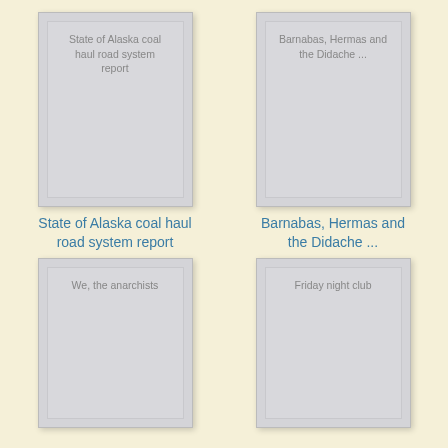[Figure (illustration): Book cover thumbnail for 'State of Alaska coal haul road system report' — gray placeholder card]
State of Alaska coal haul road system report
[Figure (illustration): Book cover thumbnail for 'Barnabas, Hermas and the Didache ...' — gray placeholder card]
Barnabas, Hermas and the Didache ...
[Figure (illustration): Book cover thumbnail for 'We, the anarchists' — gray placeholder card]
[Figure (illustration): Book cover thumbnail for 'Friday night club' — gray placeholder card]